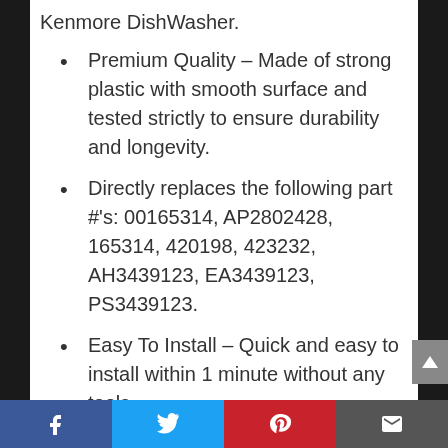Kenmore DishWasher.
Premium Quality – Made of strong plastic with smooth surface and tested strictly to ensure durability and longevity.
Directly replaces the following part #'s: 00165314, AP2802428, 165314, 420198, 423232, AH3439123, EA3439123, PS3439123.
Easy To Install – Quick and easy to install within 1 minute without any tools.
NOTE – Please verify the demension is correct for your model before